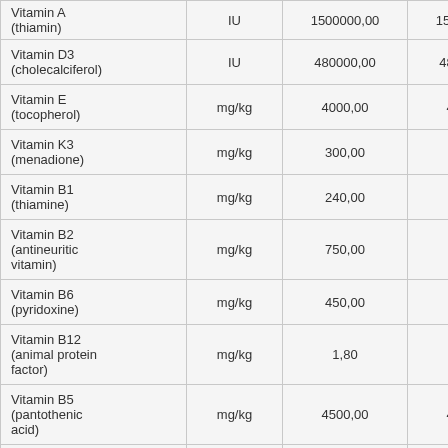|  |  |  |  |
| --- | --- | --- | --- |
| Vitamin A (thiamin) | IU | 1500000,00 | 1500000,00 |
| Vitamin D3 (cholecalciferol) | IU | 480000,00 | 480000,00 |
| Vitamin E (tocopherol) | mg/kg | 4000,00 | 4000,00 |
| Vitamin K3 (menadione) | mg/kg | 300,00 | 300,00 |
| Vitamin B1 (thiamine) | mg/kg | 240,00 | 240,00 |
| Vitamin B2 (antineuritic vitamin) | mg/kg | 750,00 | 750,00 |
| Vitamin B6 (pyridoxine) | mg/kg | 450,00 | 450,00 |
| Vitamin B12 (animal protein factor) | mg/kg | 1,80 | 1,80 |
| Vitamin B5 (pantothenic acid) | mg/kg | 4500,00 | 4500,00 |
| Vitamin B3 (nicotinic acid) | mg/kg | 1800,00 | 1800,00 |
| Vitamin B9 (folic acid) | mg/kg | 75,00 | 75,00 |